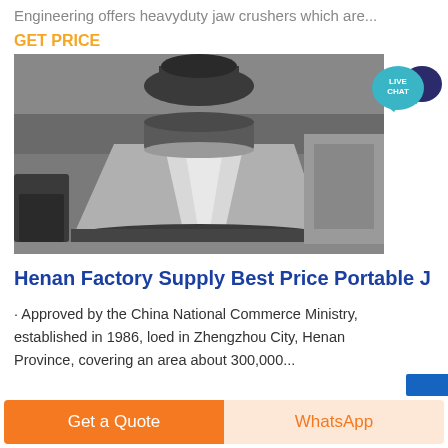Engineering offers heavyduty jaw crushers which are...
GET PRICE
[Figure (photo): Industrial cone crusher component (mantle) — large metal conical part, silver/grey polished surface, sitting on factory floor. Live Chat bubble badge in upper right corner.]
Henan Factory Supply Best Price Portable J
· Approved by the China National Commerce Ministry, established in 1986, loed in Zhengzhou City, Henan Province, covering an area about 300,000...
Get a Quote
WhatsApp